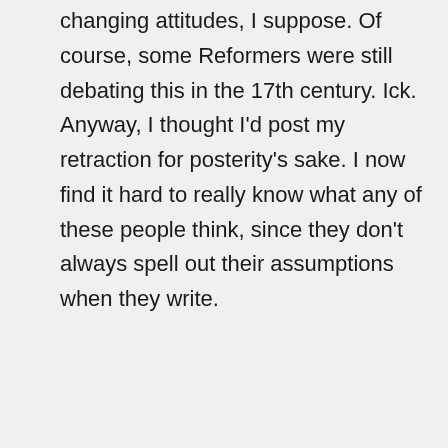changing attitudes, I suppose. Of course, some Reformers were still debating this in the 17th century. Ick. Anyway, I thought I'd post my retraction for posterity's sake. I now find it hard to really know what any of these people think, since they don't always spell out their assumptions when they write.
Barbara Roberts on 14th August 2019 at 10:59 pm
Thanks, Clockwork Angel! 🙂 🙂 🙂 I really appreciate you saying this. And I agree, it is often hard to